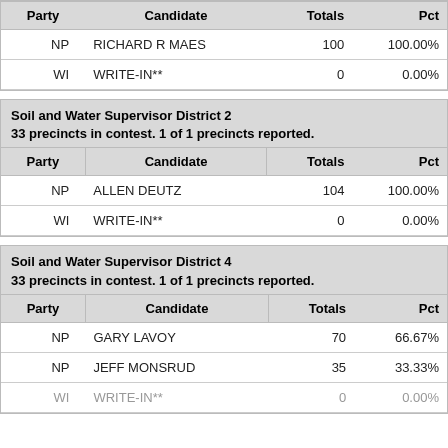| Party | Candidate | Totals | Pct |
| --- | --- | --- | --- |
| NP | RICHARD R MAES | 100 | 100.00% |
| WI | WRITE-IN** | 0 | 0.00% |
Soil and Water Supervisor District 2
33 precincts in contest. 1 of 1 precincts reported.
| Party | Candidate | Totals | Pct |
| --- | --- | --- | --- |
| NP | ALLEN DEUTZ | 104 | 100.00% |
| WI | WRITE-IN** | 0 | 0.00% |
Soil and Water Supervisor District 4
33 precincts in contest. 1 of 1 precincts reported.
| Party | Candidate | Totals | Pct |
| --- | --- | --- | --- |
| NP | GARY LAVOY | 70 | 66.67% |
| NP | JEFF MONSRUD | 35 | 33.33% |
| WI | WRITE-IN** | 0 | 0.00% |